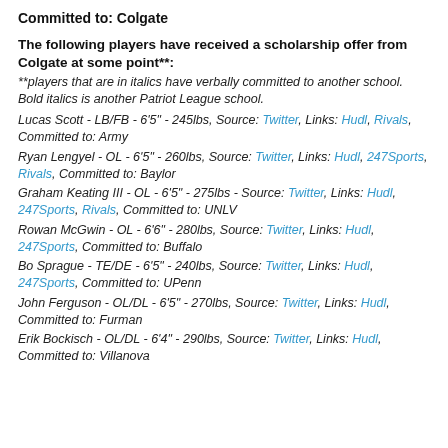Committed to: Colgate
The following players have received a scholarship offer from Colgate at some point**:
**players that are in italics have verbally committed to another school. Bold italics is another Patriot League school.
Lucas Scott - LB/FB - 6'3" - 245lbs, Source: Twitter, Links: Hudl, Rivals, Committed to: Army
Ryan Lengyel - OL - 6'5" - 260lbs, Source: Twitter, Links: Hudl, 247Sports, Rivals, Committed to: Baylor
Graham Keating III - OL - 6'5" - 275lbs - Source: Twitter, Links: Hudl, 247Sports, Rivals, Committed to: UNLV
Rowan McGwin - OL - 6'6" - 280lbs, Source: Twitter, Links: Hudl, 247Sports, Committed to: Buffalo
Bo Sprague - TE/DE - 6'5" - 240lbs, Source: Twitter, Links: Hudl, 247Sports, Committed to: UPenn
John Ferguson - OL/DL - 6'5" - 270lbs, Source: Twitter, Links: Hudl, Committed to: Furman
Erik Bockisch - OL/DL - 6'4" - 290lbs, Source: Twitter, Links: Hudl, Committed to: Villanova